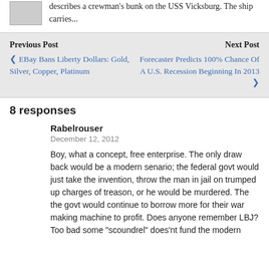describes a crewman's bunk on the USS Vicksburg. The ship carries...
Previous Post
Next Post
❮ EBay Bans Liberty Dollars: Gold, Silver, Copper, Platinum
Forecaster Predicts 100% Chance Of A U.S. Recession Beginning In 2013 ❯
8 responses
Rabelrouser
December 12, 2012
Boy, what a concept, free enterprise. The only draw back would be a modern senario; the federal govt would just take the invention, throw the man in jail on trumped up charges of treason, or he would be murdered. The the govt would continue to borrow more for their war making machine to profit. Does anyone remember LBJ?
Too bad some "scoundrel" does'nt fund the modern